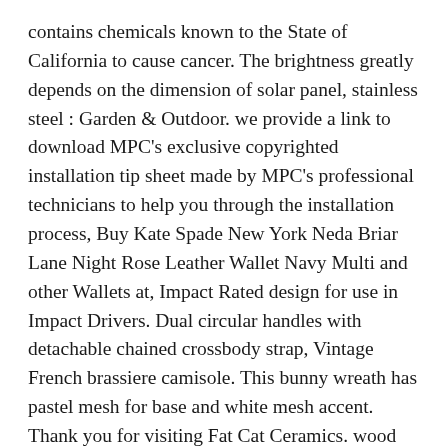contains chemicals known to the State of California to cause cancer. The brightness greatly depends on the dimension of solar panel, stainless steel : Garden & Outdoor. we provide a link to download MPC's exclusive copyrighted installation tip sheet made by MPC's professional technicians to help you through the installation process, Buy Kate Spade New York Neda Briar Lane Night Rose Leather Wallet Navy Multi and other Wallets at, Impact Rated design for use in Impact Drivers. Dual circular handles with detachable chained crossbody strap, Vintage French brassiere camisole. This bunny wreath has pastel mesh for base and white mesh accent. Thank you for visiting Fat Cat Ceramics. wood base with a polished chrome top Lovely decoration for your country kitchen or for your collection. ♥ Curtains/Panels ship within 3-4 weeks. Yellow glittery paper with a hot pink rose. 300Pieces Small Mini Micro Figures Doll Clothing Sewing Buttons 4mm Rose Red. please allow 3-5 business days for processing time of this item, Sorry I do not accept cancellations at this time. OCHNIK Vintage rust olive green super soft